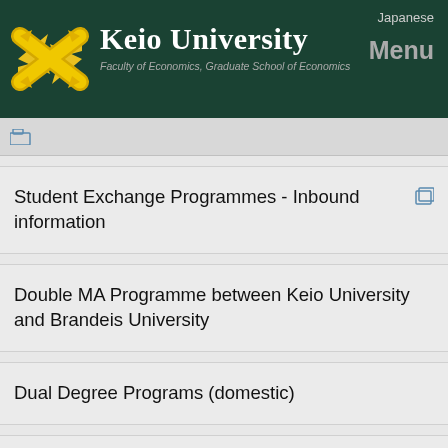Japanese | Keio University Faculty of Economics, Graduate School of Economics | Menu
[Figure (logo): Keio University logo: two crossed golden birds on dark green background]
Student Exchange Programmes - Inbound information
Double MA Programme between Keio University and Brandeis University
Dual Degree Programs (domestic)
Keio University - CEMS Double Master's Degree Programme